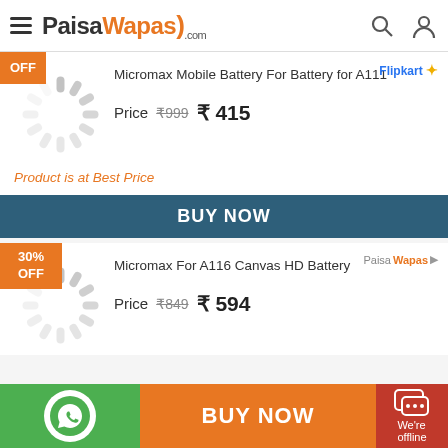PaisaWapas.com
OFF
Micromax Mobile Battery For Battery for A111
Price ₹999 ₹415
Product is at Best Price
BUY NOW
30% OFF
Micromax For A116 Canvas HD Battery
Price ₹849 ₹594
BUY NOW | We're offline